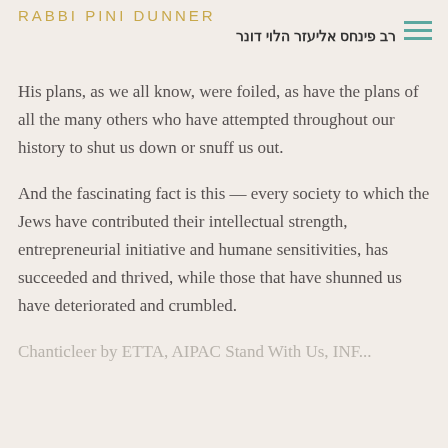RABBI PINI DUNNER / רב פינחס אליעזר הלוי דונר
and energy of the Jewish people would have an instant and profound military impact, and that Pharaoh declared, was never going to happen on his watch.
His plans, as we all know, were foiled, as have the plans of all the many others who have attempted throughout our history to shut us down or snuff us out.
And the fascinating fact is this — every society to which the Jews have contributed their intellectual strength, entrepreneurial initiative and humane sensitivities, has succeeded and thrived, while those that have shunned us have deteriorated and crumbled.
Chanticleer by ETTA, AIPAC Stand With Us, INF...